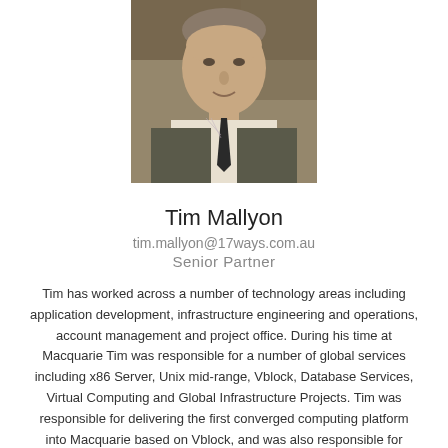[Figure (photo): Headshot photo of Tim Mallyon, a middle-aged man in a dark suit with a dark tie, in front of a brick building background.]
Tim Mallyon
tim.mallyon@17ways.com.au
Senior Partner
Tim has worked across a number of technology areas including application development, infrastructure engineering and operations, account management and project office. During his time at Macquarie Tim was responsible for a number of global services including x86 Server, Unix mid-range, Vblock, Database Services, Virtual Computing and Global Infrastructure Projects. Tim was responsible for delivering the first converged computing platform into Macquarie based on Vblock, and was also responsible for delivering the first 'as-a-Service' offerings hosting Oracle and Microsoft SQLServer. Tim also spent several years as an infrastructure account manager working directly